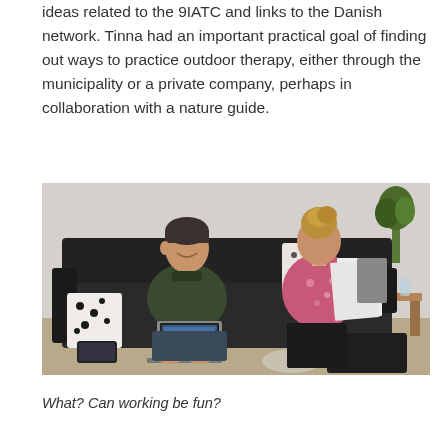ideas related to the 9IATC and links to the Danish network. Tinna had an important practical goal of finding out ways to practice outdoor therapy, either through the municipality or a private company, perhaps in collaboration with a nature guide.
[Figure (photo): Two people sitting on a black leather sofa in a living room. A man in a dark green sweater sits on the left using a laptop, and a woman in a pink floral top sits on the right reading documents. There are spotted pillows on the couch, a wooden coffee table to the right, and a plant in the background.]
What? Can working be fun?